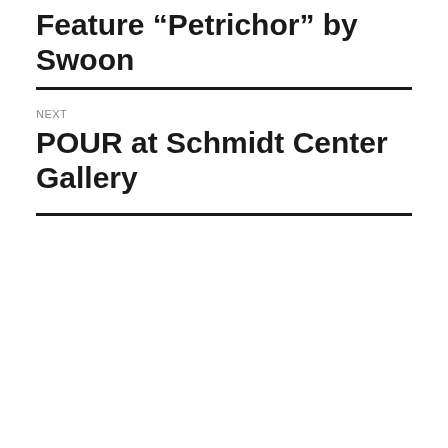Feature “Petrichor” by Swoon
NEXT
POUR at Schmidt Center Gallery